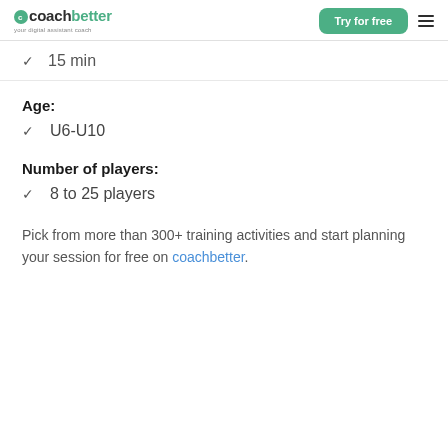coachbetter — your digital assistant coach | Try for free
15 min
Age:
U6-U10
Number of players:
8 to 25 players
Pick from more than 300+ training activities and start planning your session for free on coachbetter.